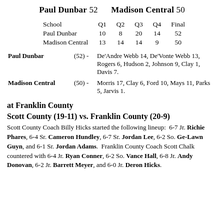Paul Dunbar 52   Madison Central 50
| School | Q1 | Q2 | Q3 | Q4 | Final |
| --- | --- | --- | --- | --- | --- |
| Paul Dunbar | 10 | 8 | 20 | 14 | 52 |
| Madison Central | 13 | 14 | 14 | 9 | 50 |
Paul Dunbar (52) - De'Andre Webb 14, De'Vonte Webb 13, Rogers 6, Hudson 2, Johnson 9, Clay 1, Davis 7.
Madison Central (50) - Morris 17, Clay 6, Ford 10, Mays 11, Parks 5, Jarvis 1.
at Franklin County
Scott County (19-11) vs. Franklin County (20-9)
Scott County Coach Billy Hicks started the following lineup: 6-7 Jr. Richie Phares, 6-4 Sr. Cameron Hundley, 6-7 Sr. Jordan Lee, 6-2 So. Ge-Lawn Guyn, and 6-1 Sr. Jordan Adams. Franklin County Coach Scott Chalk countered with 6-4 Jr. Ryan Conner, 6-2 So. Vance Hall, 6-8 Jr. Andy Donovan, 6-2 Jr. Barrett Meyer, and 6-0 Jr. Deron Hicks.